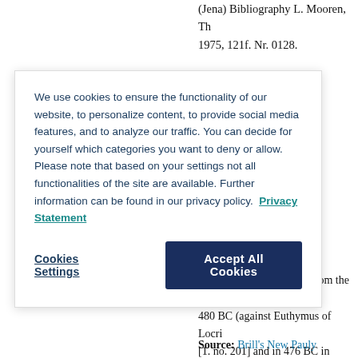(Jena) Bibliography L. Mooren, The 1975, 121f. Nr. 0128.
We use cookies to ensure the functionality of our website, to personalize content, to provide social media features, and to analyze our traffic. You can decide for yourself which categories you want to deny or allow. Please note that based on your settings not all functionalities of the site are available. Further information can be found in our privacy policy.  Privacy Statement
Cookies Settings
Accept All Cookies
cent. BC Famous fighter from the is 480 BC (against Euthymus of Locri [1. no. 201] and in 476 BC in pankra victories was first documented for 37] dating from the 2nd cent. BC, w adored by his home polis for as lon Pausanias tells of three victories in
Source: Brill's New Pauly